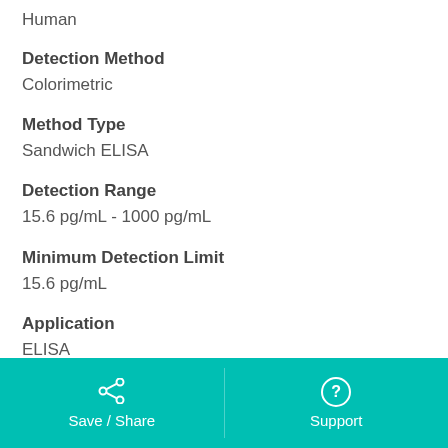Human
Detection Method
Colorimetric
Method Type
Sandwich ELISA
Detection Range
15.6 pg/mL - 1000 pg/mL
Minimum Detection Limit
15.6 pg/mL
Application
ELISA
Save / Share   Support